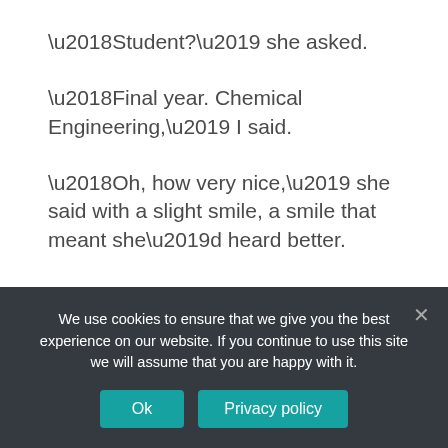‘Student?’ she asked.
‘Final year. Chemical Engineering,’ I said.
‘Oh, how very nice,’ she said with a slight smile, a smile that meant she’d heard better.
I guess at that moment I was overtaken by that jubilant feeling of being in finals when you feel like you are the most important person in the world.
‘The street is your next turn, Ma,’ I said, as if to mask the complacency in my former words.
We use cookies to ensure that we give you the best experience on our website. If you continue to use this site we will assume that you are happy with it.